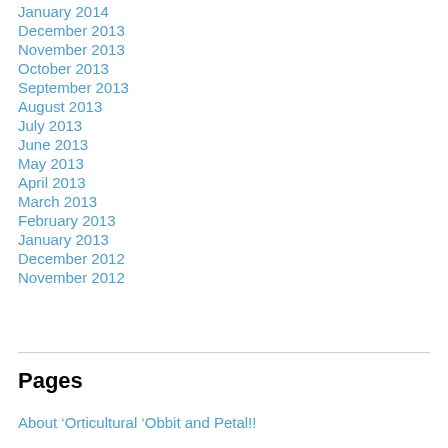January 2014
December 2013
November 2013
October 2013
September 2013
August 2013
July 2013
June 2013
May 2013
April 2013
March 2013
February 2013
January 2013
December 2012
November 2012
Pages
About ‘Orticultural ‘Obbit and Petal!!